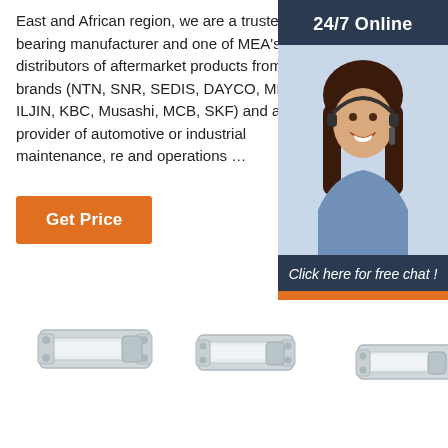East and African region, we are a trusted bearing manufacturer and one of MEA's leading distributors of aftermarket products from leading brands (NTN, SNR, SEDIS, DAYCO, MBS, ILJIN, KBC, Musashi, MCB, SKF) and a trusted provider of automotive or industrial maintenance, re and operations …
Get Price
[Figure (infographic): Sidebar widget: dark navy header with '24/7 Online', photo of woman with headset smiling, dark navy footer with 'Click here for free chat !' text and orange QUOTATION button]
[Figure (photo): Three chrome/stainless steel door bolt/latch hardware products shown side by side at the bottom of the page]